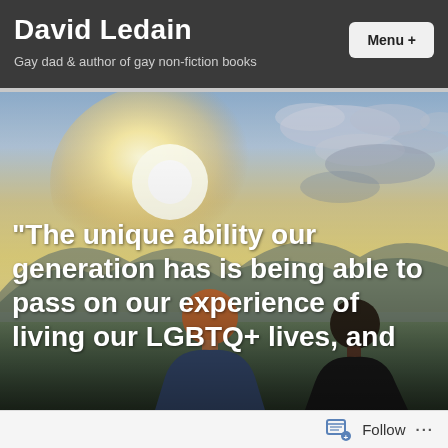David Ledain
Gay dad & author of gay non-fiction books
Menu +
[Figure (photo): Two men sitting side by side viewed from behind, looking out over a mountainous landscape at sunset with bright light on the horizon and dramatic cloudy sky. One man has reddish/auburn hair, the other has a dark close-cropped cut and wears a dark shirt.]
“The unique ability our generation has is being able to pass on our experience of living our LGBTQ+ lives, and
Follow ...